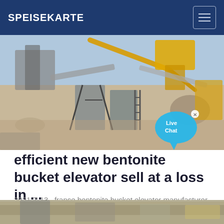SPEISEKARTE
[Figure (photo): Outdoor construction/mining site with yellow heavy machinery, conveyor belts, concrete structures, and sandy ground under a blue sky. A 'Live Chat' speech bubble overlay appears in the lower right.]
efficient new bentonite bucket elevator sell at a loss in ...
2021-7-13 · france bentonite bucket elevator manufacturer - industing. ... high end new pyrrhotite mobile crusher sell at a loss in ... quarry plant primary crusher
[Figure (photo): Partial view of another outdoor industrial/quarry site photo at the bottom of the page.]